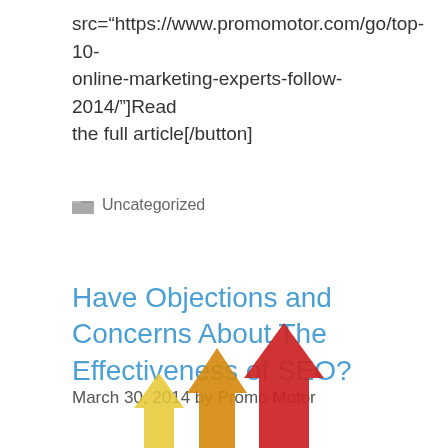src="https://www.promomotor.com/go/top-10-online-marketing-experts-follow-2014/"]Read the full article[/button]
Uncategorized
Have Objections and Concerns About The Effectiveness of SEO?
March 30, 2014 by Promo Motor
[Figure (illustration): Colorful 3D arrows pointing upward in red, orange/gold, and yellow colors, suggesting growth or improvement]